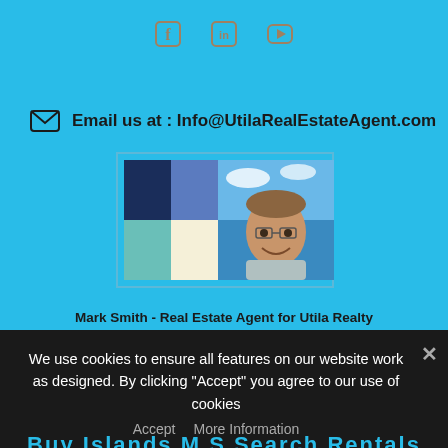[Figure (infographic): Social media icons: Facebook, LinkedIn, YouTube in brownish-gray color on cyan background]
Email us at : Info@UtilaRealEstateAgent.com
[Figure (photo): Agent card with color squares (dark navy, medium blue, teal, cream) and photo of Mark Smith smiling outdoors]
Mark Smith - Real Estate Agent for Utila Realty
011 504 3315-6146
We use cookies to ensure all features on our website work as designed. By clicking "Accept" you agree to our use of cookies
Accept   More Information